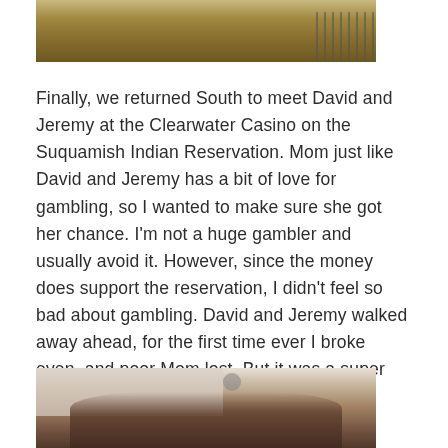[Figure (photo): Top portion of an outdoor photo showing dry grass/field with a fence visible on the right side]
Finally, we returned South to meet David and Jeremy at the Clearwater Casino on the Suquamish Indian Reservation. Mom just like David and Jeremy has a bit of love for gambling, so I wanted to make sure she got her chance. I'm not a huge gambler and usually avoid it. However, since the money does support the reservation, I didn't feel so bad about gambling. David and Jeremy walked away ahead, for the first time ever I broke even, and poor Mom lost. But it was a super fun night!
[Figure (photo): Bottom portion of a photo showing people indoors, appears to be two or three people smiling/posing, with white siding wall and a clock visible in the background]